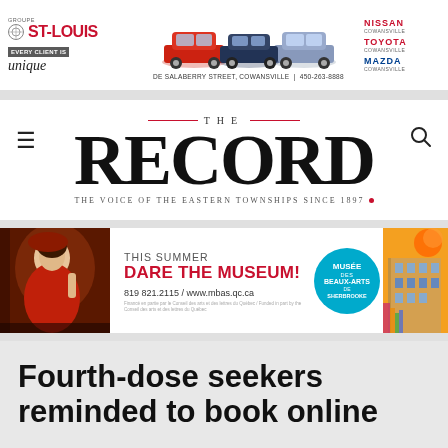[Figure (other): Groupe ST-LOUIS car dealership advertisement banner with cars, address DE SALABERRY STREET, COWANSVILLE | 450-263-8888, and brand logos NISSAN COWANSVILLE, TOYOTA COWANSVILLE, MAZDA COWANSVILLE]
[Figure (logo): The Record newspaper masthead logo with tagline THE VOICE OF THE EASTERN TOWNSHIPS SINCE 1897]
[Figure (other): Museum advertisement: THIS SUMMER DARE THE MUSEUM! 819 821.2115 / www.mbas.qc.ca, Musee des Beaux-Arts de Sherbrooke]
Fourth-dose seekers reminded to book online